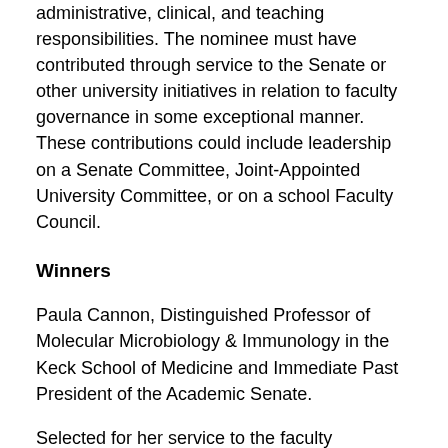administrative, clinical, and teaching responsibilities. The nominee must have contributed through service to the Senate or other university initiatives in relation to faculty governance in some exceptional manner. These contributions could include leadership on a Senate Committee, Joint-Appointed University Committee, or on a school Faculty Council.
Winners
Paula Cannon, Distinguished Professor of Molecular Microbiology & Immunology in the Keck School of Medicine and Immediate Past President of the Academic Senate.
Selected for her service to the faculty throughout her tenure at USC within CHLA, within Keck, as well as within the university and the Academic Senate, specifically as President of the Academic Senate. She has served on committees since 2003 tackling issues like bio-safety, bridging funds for faculty, faculty